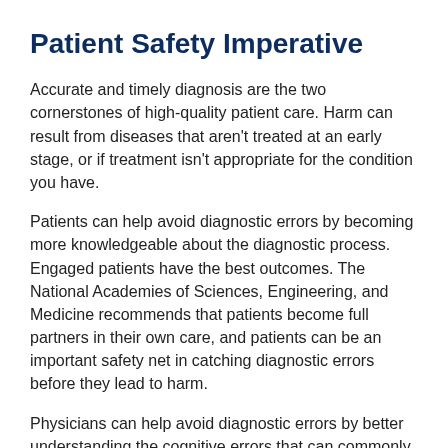Patient Safety Imperative
Accurate and timely diagnosis are the two cornerstones of high-quality patient care. Harm can result from diseases that aren't treated at an early stage, or if treatment isn't appropriate for the condition you have.
Patients can help avoid diagnostic errors by becoming more knowledgeable about the diagnostic process. Engaged patients have the best outcomes. The National Academies of Sciences, Engineering, and Medicine recommends that patients become full partners in their own care, and patients can be an important safety net in catching diagnostic errors before they lead to harm.
Physicians can help avoid diagnostic errors by better understanding the cognitive errors that can commonly occur with the complexities of the diagnostic process.